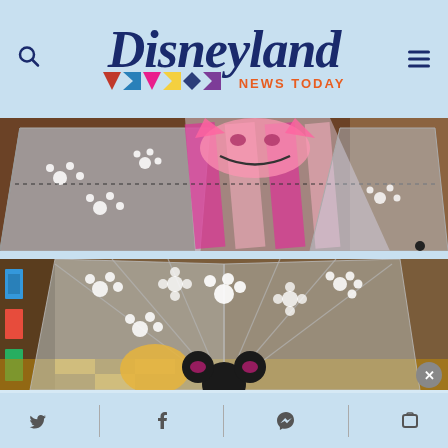Disneyland News Today
[Figure (photo): Close-up photo of a clear umbrella with Cheshire Cat pink striped design and white paw print patterns, viewed from underneath]
[Figure (photo): Close-up photo of a clear umbrella with Minnie Mouse black ears and floral/paw print white patterns, viewed from underneath, in a Disney store]
Twitter, Facebook, Messenger social share buttons with close X button